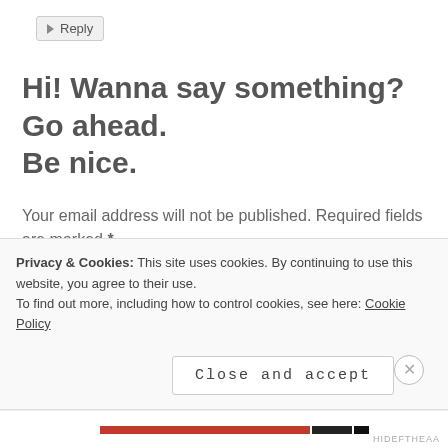Reply
Hi! Wanna say something? Go ahead. Be nice.
Your email address will not be published. Required fields are marked *
COMMENT
*
Privacy & Cookies: This site uses cookies. By continuing to use this website, you agree to their use. To find out more, including how to control cookies, see here: Cookie Policy
Close and accept